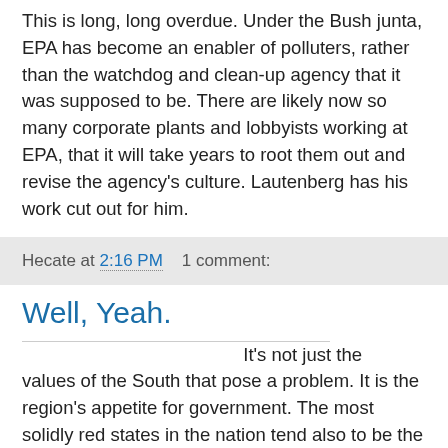This is long, long overdue. Under the Bush junta, EPA has become an enabler of polluters, rather than the watchdog and clean-up agency that it was supposed to be. There are likely now so many corporate plants and lobbyists working at EPA, that it will take years to root them out and revise the agency's culture. Lautenberg has his work cut out for him.
Hecate at 2:16 PM    1 comment:
Well, Yeah.
It's not just the values of the South that pose a problem. It is the region's appetite for government. The most solidly red states in the nation tend also to be the most reliant on federal handouts -- farm subsidies, water projects and sundry other earmarks. It's hard to be the party of small government when you represent the communities that benefit most from big government. George W. Bush tried to straddle this divide by